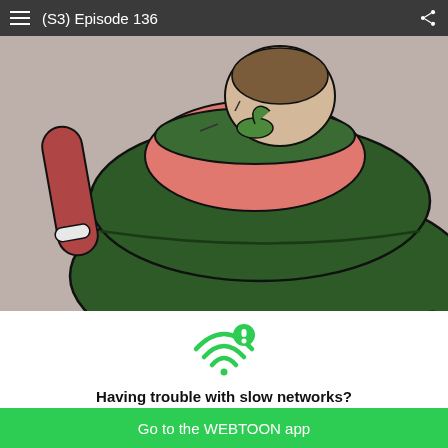(S3) Episode 136
[Figure (illustration): Manga/webtoon panel showing a large green monster or creature with rounded body segments, a small green plant/leaf on top, and a character in a pink and dark green outfit. The scene has a grey background.]
[Figure (infographic): WiFi signal icon with an exclamation mark badge, indicating a network error or slow connection.]
Having trouble with slow networks?
Download stories on your phone and read offline!
Go to the WEBTOON app